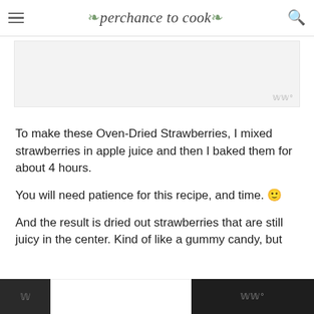perchance to cook
[Figure (other): Advertisement or image placeholder with light gray background and watermark badge in bottom right]
To make these Oven-Dried Strawberries, I mixed strawberries in apple juice and then I baked them for about 4 hours.
You will need patience for this recipe, and time. 🙂
And the result is dried out strawberries that are still juicy in the center. Kind of like a gummy candy, but